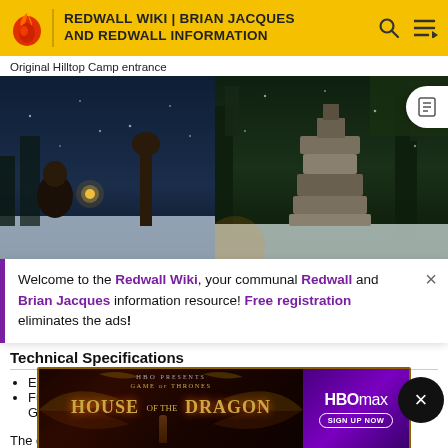REDWALL WIKI | BRIAN JACQUES AND REDWALL INFORMATION
Original Hilltop Camp entrance
[Figure (screenshot): Game screenshot showing a dark winter scene with character at camp entrance]
[Figure (screenshot): Game screenshot showing a stone monument or altar in a snowy environment]
Welcome to the Redwall Wiki, your communal Redwall and Brian Jacques information resource! Free registration eliminates the ads!
Technical Specifications
Ear...
Ful... 5.42 GB...
[Figure (screenshot): HBO Max advertisement for House of the Dragon]
The game was developed using Unity, Blender, 3D Coat,